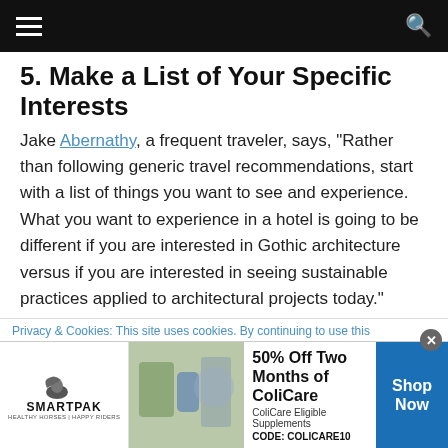Navigation header with hamburger menu and search icon
5. Make a List of Your Specific Interests
Jake Abernathy, a frequent traveler, says, "Rather than following generic travel recommendations, start with a list of things you want to see and experience. What you want to experience in a hotel is going to be different if you are interested in Gothic architecture versus if you are interested in seeing sustainable practices applied to architectural projects today."
6. Let Your Travel Agent Know
If you have an interest in architecture and design, you might
Privacy & Cookies: This site uses cookies. By continuing to use this
[Figure (infographic): SmartPak advertisement banner: 50% Off Two Months of ColiCare, ColiCare Eligible Supplements, CODE: COLICARE10, with Shop Now button]